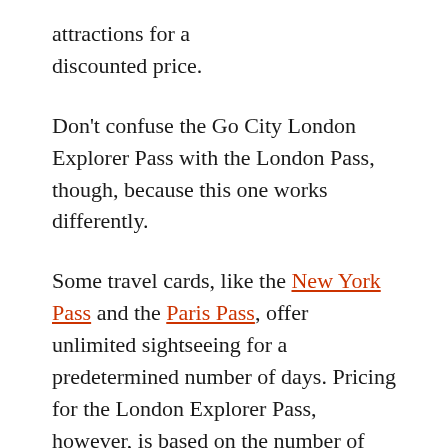attractions for a discounted price.
Don’t confuse the Go City London Explorer Pass with the London Pass, though, because this one works differently.
Some travel cards, like the New York Pass and the Paris Pass, offer unlimited sightseeing for a predetermined number of days. Pricing for the London Explorer Pass, however, is based on the number of sites you wish to visit.
With the London Explorer Pass, you are limited to visiting between two and seven sites — depending on which pass you choose. One